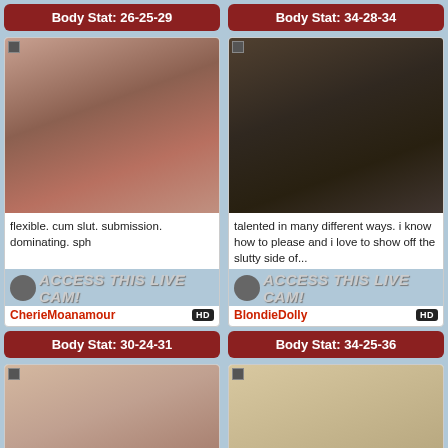Body Stat: 26-25-29
Body Stat: 34-28-34
[Figure (photo): Young brunette woman in red top taking a selfie]
[Figure (photo): Blonde woman in black outfit posing]
flexible. cum slut. submission. dominating. sph
talented in many different ways. i know how to please and i love to show off the slutty side of...
ACCESS THIS LIVE CAM!
ACCESS THIS LIVE CAM!
CherieMoanamour
BlondieDolly
Body Stat: 30-24-31
Body Stat: 34-25-36
[Figure (photo): Partial view of a woman posing on bed]
[Figure (photo): Blonde woman close up face shot]